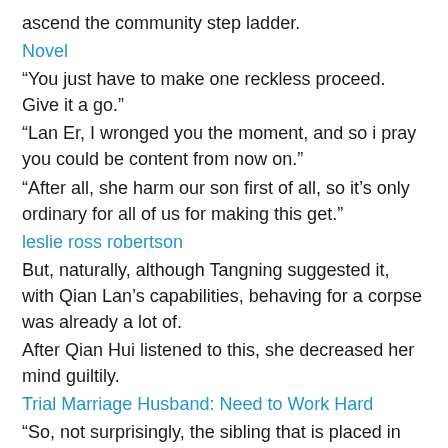ascend the community step ladder.
Novel
“You just have to make one reckless proceed. Give it a go.”
“Lan Er, I wronged you the moment, and so i pray you could be content from now on.”
“After all, she harm our son first of all, so it’s only ordinary for all of us for making this get.”
leslie ross robertson
But, naturally, although Tangning suggested it, with Qian Lan’s capabilities, behaving for a corpse was already a lot of.
After Qian Hui listened to this, she decreased her mind guiltily.
Trial Marriage Husband: Need to Work Hard
“So, not surprisingly, the sibling that is placed in the home not doing anything, can’t say anything sometimes.”
Deep down, Qian Hui probably needed to create a reputation for themselves. Of course, Xu Chunhao deserted her. If she was in becoming a superstar, then he would regret his final decision, proper?
“Don’t get worried,” Tangning smiled.